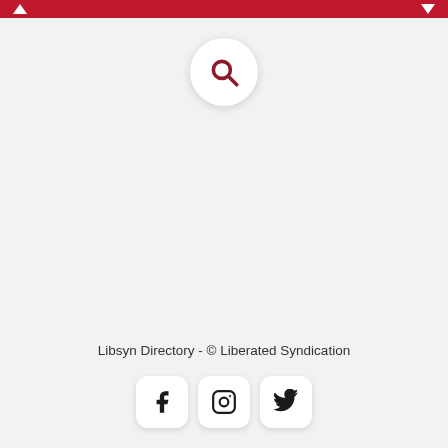Navigation bar with up and down arrows
[Figure (illustration): Search icon (magnifying glass) in a white circular button centered near the top of the page]
Libsyn Directory - © Liberated Syndication
[Figure (infographic): Three social media icon buttons: Facebook, Instagram, Twitter, each in white rounded square buttons]